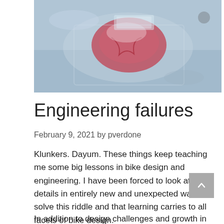[Figure (photo): Close-up photo of what appears to be a cracked or broken red/pink mechanical component, possibly a brake pad or rubber part, on a metallic surface]
Engineering failures
February 9, 2021 by pverdone
Klunkers. Dayum. These things keep teaching me some big lessons in bike design and engineering. I have been forced to look at details in entirely new and unexpected ways to solve this riddle and that learning carries to all facets of bike design.
In addition to design challenges and growth in